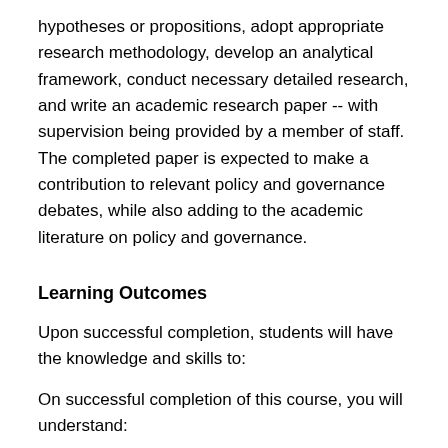hypotheses or propositions, adopt appropriate research methodology, develop an analytical framework, conduct necessary detailed research, and write an academic research paper -- with supervision being provided by a member of staff. The completed paper is expected to make a contribution to relevant policy and governance debates, while also adding to the academic literature on policy and governance.
Learning Outcomes
Upon successful completion, students will have the knowledge and skills to:
On successful completion of this course, you will understand:
the key elements of research in policy and governance, with a keen appreciation of how research and analysis of important issues can inform policy debates and deliberations;